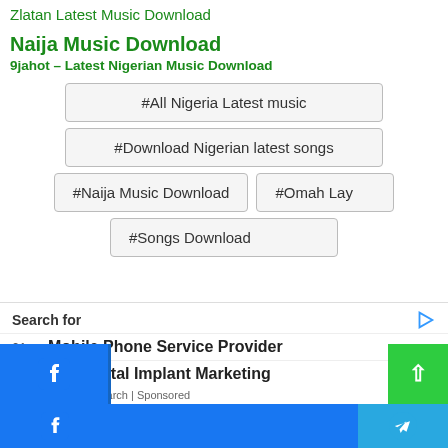Zlatan Latest Music Download
Naija Music Download
9jahot – Latest Nigerian Music Download
#All Nigeria Latest music
#Download Nigerian latest songs
#Naija Music Download
#Omah Lay
#Songs Download
Search for
01.  Mobile Phone Service Provider
02.  Top Dental Implant Marketing
Yahoo! Search | Sponsored